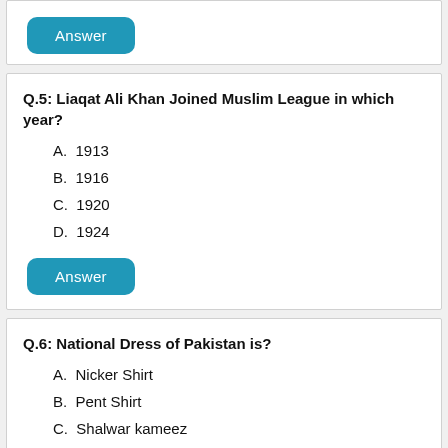Answer
Q.5: Liaqat Ali Khan Joined Muslim League in which year?
A.  1913
B.  1916
C.  1920
D.  1924
Answer
Q.6: National Dress of Pakistan is?
A.  Nicker Shirt
B.  Pent Shirt
C.  Shalwar kameez
D.  Dhoti Kurta
Answer